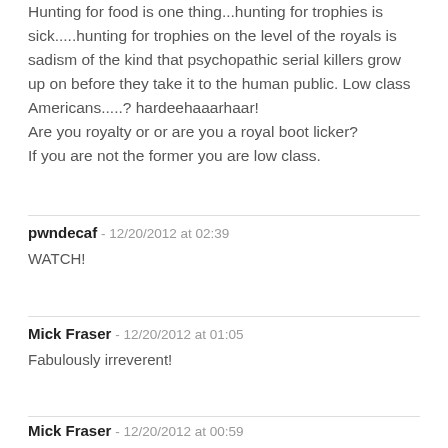Hunting for food is one thing...hunting for trophies is sick.....hunting for trophies on the level of the royals is sadism of the kind that psychopathic serial killers grow up on before they take it to the human public. Low class Americans.....? hardeehaaarhaar! Are you royalty or or are you a royal boot licker? If you are not the former you are low class.
pwndecaf - 12/20/2012 at 02:39
WATCH!
Reply
Mick Fraser - 12/20/2012 at 01:05
Fabulously irreverent!
Reply
Mick Fraser - 12/20/2012 at 00:59